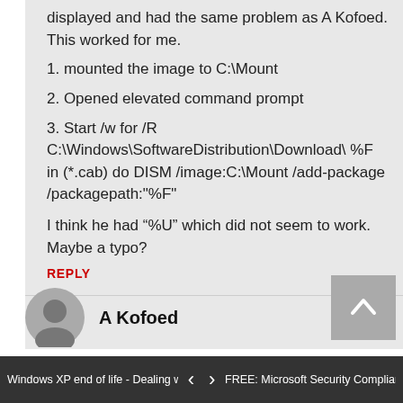displayed and had the same problem as A Kofoed. This worked for me.
1. mounted the image to C:\Mount
2. Opened elevated command prompt
3. Start /w for /R C:\Windows\SoftwareDistribution\Download\ %F in (*.cab) do DISM /image:C:\Mount /add-package /packagepath:"%F"
I think he had “%U” which did not seem to work. Maybe a typo?
REPLY
A Kofoed
Windows XP end of life - Dealing w... | FREE: Microsoft Security Complian...